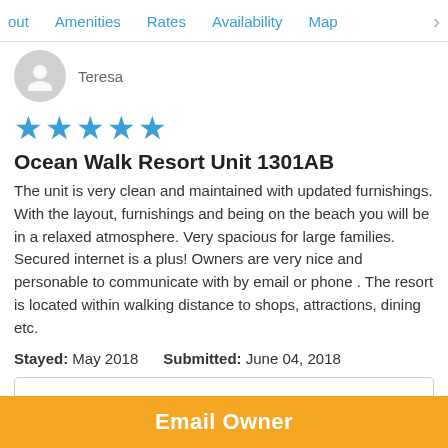out   Amenities   Rates   Availability   Map   >
[Figure (illustration): User avatar placeholder circle with a person silhouette icon, grey]
Teresa
[Figure (illustration): Five blue star rating icons]
Ocean Walk Resort Unit 1301AB
The unit is very clean and maintained with updated furnishings. With the layout, furnishings and being on the beach you will be in a relaxed atmosphere. Very spacious for large families. Secured internet is a plus! Owners are very nice and personable to communicate with by email or phone . The resort is located within walking distance to shops, attractions, dining etc.
Stayed: May 2018   Submitted: June 04, 2018
Email Owner